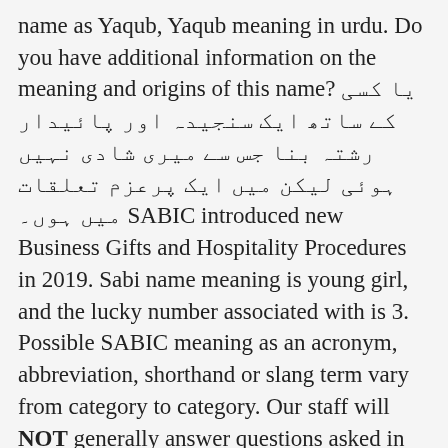name as Yaqub, Yaqub meaning in urdu. Do you have additional information on the meaning and origins of this name? یا کسی کے ساتھ ایک سنجیدہ اور پائیدار رشتہ بنا جس سے میری شادی نہیں ہوئی لیکن میں ایک پرعزم تعلقات میں ہوں۔ SABIC introduced new Business Gifts and Hospitality Procedures in 2019. Sabi name meaning is young girl, and the lucky number associated with is 3. Possible SABIC meaning as an acronym, abbreviation, shorthand or slang term vary from category to category. Our staff will NOT generally answer questions asked in the comments. We know 6 definitions for SABIC abbreviation or acronym in 3 categories. Resurrect meaning in Arabic has been searched 1256 ( one thousand two hundred fifty six ) times till today 21/01/2021. Use Online Urdu Dictionary of Rekhta to find word meanings of Urdu words in poetry. The lucky number associated with the name Saqib is "9". A bribe will enter without knocking meaning in Urdu means: It looks like we do not